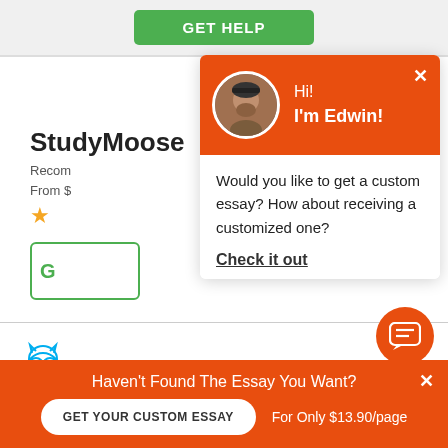[Figure (screenshot): GET HELP green button on gray background]
StudyMoose
Recommended
From $
[Figure (other): Gold star rating (1 star visible)]
[Figure (other): Green bordered box with partial text]
[Figure (other): Owl logo icon for second service]
From $
[Figure (other): Gold star rating 4.5 stars]
[Figure (infographic): Chat popup with Edwin avatar on orange background. Text: Hi! I'm Edwin! Would you like to get a custom essay? How about receiving a customized one? Check it out]
[Figure (other): Orange chat bubble button]
Haven't Found The Essay You Want?
GET YOUR CUSTOM ESSAY
For Only $13.90/page